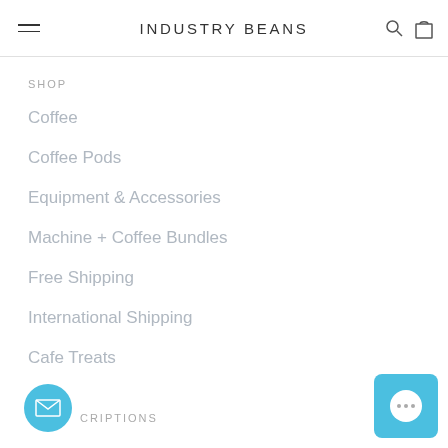INDUSTRY BEANS
SHOP
Coffee
Coffee Pods
Equipment & Accessories
Machine + Coffee Bundles
Free Shipping
International Shipping
Cafe Treats
SUBSCRIPTIONS